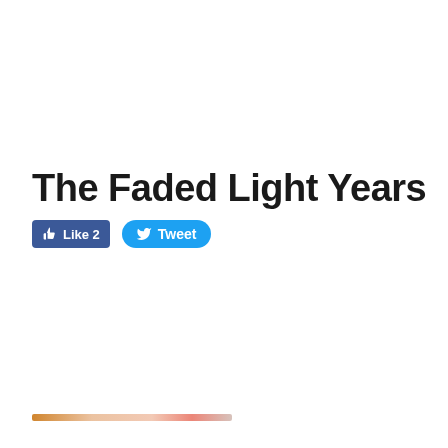The Faded Light Years
[Figure (other): Facebook Like button showing count of 2 and Twitter Tweet button, rendered as social media sharing widgets]
[Figure (other): Narrow horizontal bar at bottom, appears to be a progress bar or toolbar strip with orange and pink tones]